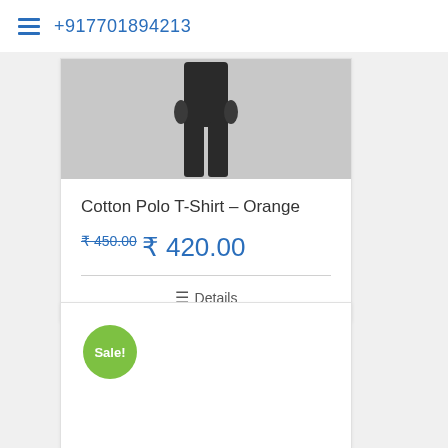+917701894213
[Figure (photo): Product image of a person wearing dark pants/trousers, partially visible torso and legs]
Cotton Polo T-Shirt – Orange
₹ 450.00  ₹ 420.00
Details
[Figure (photo): Second product card with a green Sale! badge, product image area mostly blank/loading]